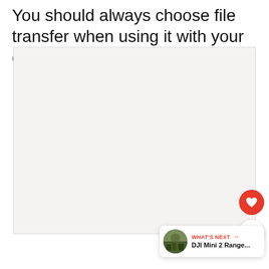You should always choose file transfer when using it with your drone.
[Figure (photo): Large light pinkish-gray blank image area placeholder]
[Figure (infographic): Red circular heart/favorite button and white circular share button overlaid on page, plus a 'What's Next' card showing DJI Mini 2 Range... with a thumbnail of a nature photo]